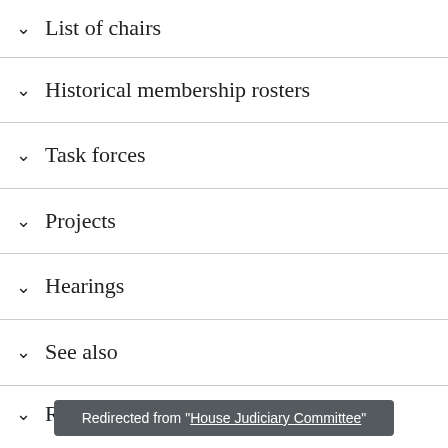List of chairs
Historical membership rosters
Task forces
Projects
Hearings
See also
References
Redirected from "House Judiciary Committee"